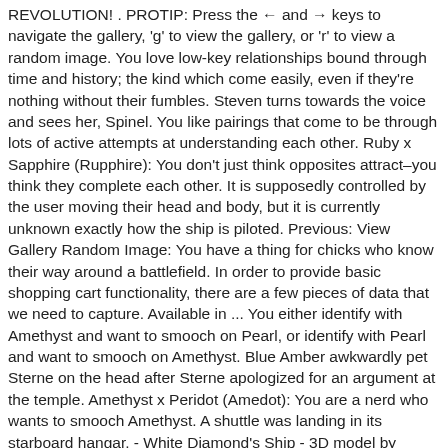REVOLUTION! . PROTIP: Press the ← and → keys to navigate the gallery, 'g' to view the gallery, or 'r' to view a random image. You love low-key relationships bound through time and history; the kind which come easily, even if they're nothing without their fumbles. Steven turns towards the voice and sees her, Spinel. You like pairings that come to be through lots of active attempts at understanding each other. Ruby x Sapphire (Rupphire): You don't just think opposites attract–you think they complete each other. It is supposedly controlled by the user moving their head and body, but it is currently unknown exactly how the ship is piloted. Previous: View Gallery Random Image: You have a thing for chicks who know their way around a battlefield. In order to provide basic shopping cart functionality, there are a few pieces of data that we need to capture. Available in ... You either identify with Amethyst and want to smooch on Pearl, or identify with Pearl and want to smooch on Amethyst. Blue Amber awkwardly pet Sterne on the head after Sterne apologized for an argument at the temple. Amethyst x Peridot (Amedot): You are a nerd who wants to smooch Amethyst. A shuttle was landing in its starboard hangar. - White Diamond's Ship - 3D model by SleepyEngi (@SleepyEngi) [85cbfd9] since the early episodes. All credit go to the original artists. As everyone fervently began hoping for a miracle, one of Steven's magical tears fall onto the body of his friend, restoring Lars to life